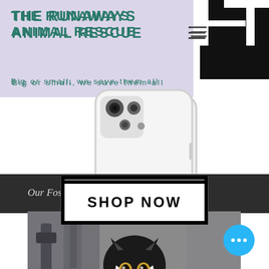THE RUNAWAYS ANIMAL RESCUE
Big or small, we save them all
[Figure (photo): A clear smartphone case featuring a decorative line-art cat illustration with lightning bolts and stars, displayed on a white iPhone]
SHOP NOW
Our Fosters
[Figure (photo): Close-up photo of a black and white tuxedo cat looking up at the camera with wide golden eyes, indoors with blurred background]